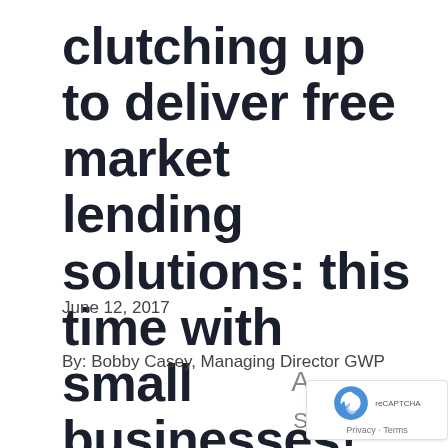clutching up to deliver free market lending solutions: this time with small businesses!
June 12, 2017
By: Bobby Casey, Managing Director GWP